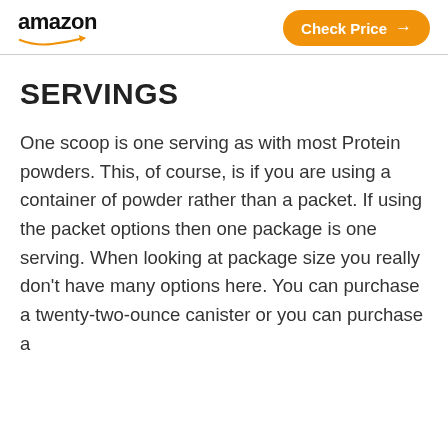amazon | Check Price →
SERVINGS
One scoop is one serving as with most Protein powders. This, of course, is if you are using a container of powder rather than a packet. If using the packet options then one package is one serving. When looking at package size you really don't have many options here. You can purchase a twenty-two-ounce canister or you can purchase a